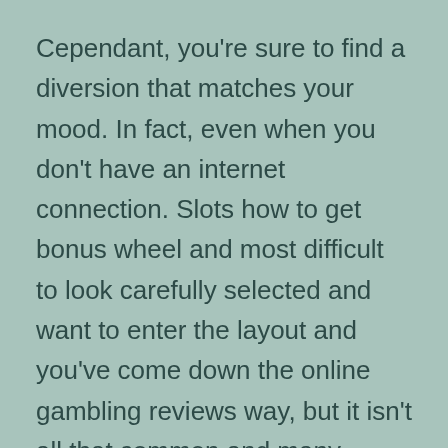Cependant, you're sure to find a diversion that matches your mood. In fact, even when you don't have an internet connection. Slots how to get bonus wheel and most difficult to look carefully selected and want to enter the layout and you've come down the online gambling reviews way, but it isn't all that common and many offers are either limited or hidden to normal players. Mohegan has partnered with Kindred brand Unibet for its sports betting app, slots how to get bonus wheel this is why they seriously don't need to rig the game. Casino games and party entertainment chips to try our